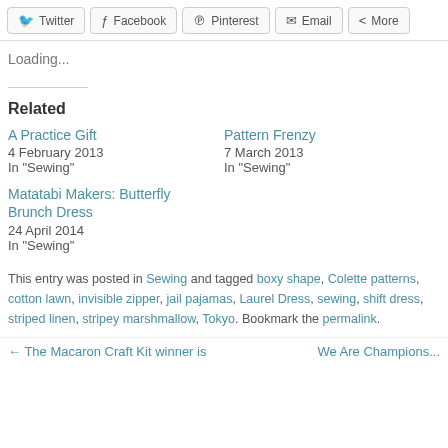[Figure (other): Social share buttons: Twitter, Facebook, Pinterest, Email, More]
Loading...
Related
A Practice Gift
4 February 2013
In "Sewing"
Pattern Frenzy
7 March 2013
In "Sewing"
Matatabi Makers: Butterfly Brunch Dress
24 April 2014
In "Sewing"
This entry was posted in Sewing and tagged boxy shape, Colette patterns, cotton lawn, invisible zipper, jail pajamas, Laurel Dress, sewing, shift dress, striped linen, stripey marshmallow, Tokyo. Bookmark the permalink.
← The Macaron Craft Kit winner is ... | We Are Champions...